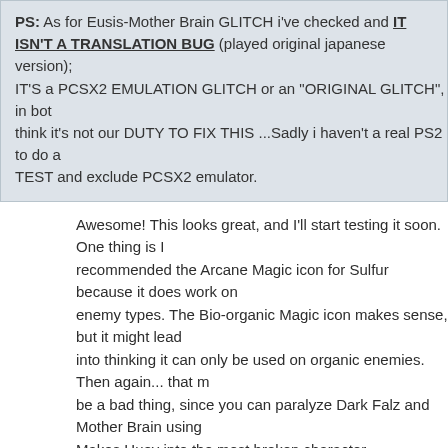PS: As for Eusis-Mother Brain GLITCH i've checked and IT ISN'T A TRANSLATION BUG (played original japanese version); IT'S a PCSX2 EMULATION GLITCH or an "ORIGINAL GLITCH", in both cases i think it's not our DUTY TO FIX THIS ...Sadly i haven't a real PS2 to do a TEST and exclude PCSX2 emulator.
Awesome! This looks great, and I'll start testing it soon. One thing is I recommended the Arcane Magic icon for Sulfur because it does work on enemy types. The Bio-organic Magic icon makes sense, but it might lead into thinking it can only be used on organic enemies. Then again... that might be a bad thing, since you can paralyze Dark Falz and Mother Brain using it. Makes Huey into the most broken character.
Edit 1 - I can confirm that the new MTE works. Thanks so much for all your work, Goldenboy! If you haven't added yourself to the credits, by all means do!
Edit 2 - I'm gonna start giving notes in a bulleted format so they're easier...
- Fields no longer use the Field icon. They're belts that generate force fie... armor icon doesn't necessarily make sense.
- I noticed Fibrillaes now seem to use the Robe icon. To me, that's not rea... issue, but I thought I should point it out. (I've always been ambivalent abo...